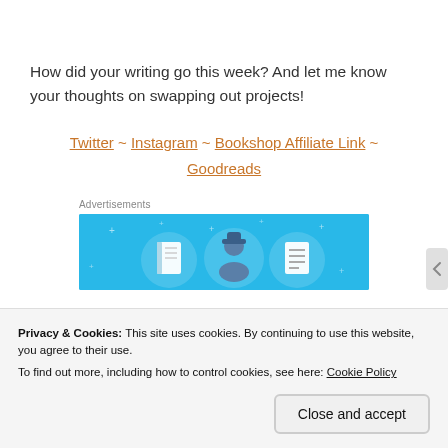How did your writing go this week? And let me know your thoughts on swapping out projects!
Twitter ~ Instagram ~ Bookshop Affiliate Link ~ Goodreads
Advertisements
[Figure (illustration): Blue advertisement banner with illustrated icons of a book, a person, and a document/list on a light blue background with stars.]
Privacy & Cookies: This site uses cookies. By continuing to use this website, you agree to their use.
To find out more, including how to control cookies, see here: Cookie Policy